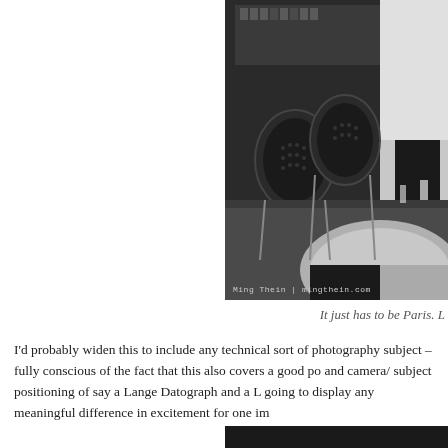[Figure (photo): Black and white photograph of a Paris cafe/restaurant interior with chairs, tables, and a waiter in white shirt. Watermark reads 'Ming Thein | mingthein.com'.]
It just has to be Paris. L
I'd probably widen this to include any technical sort of photography subject – fully conscious of the fact that this also covers a good po and camera/ subject positioning of say a Lange Datograph and a L going to display any meaningful difference in excitement for one im